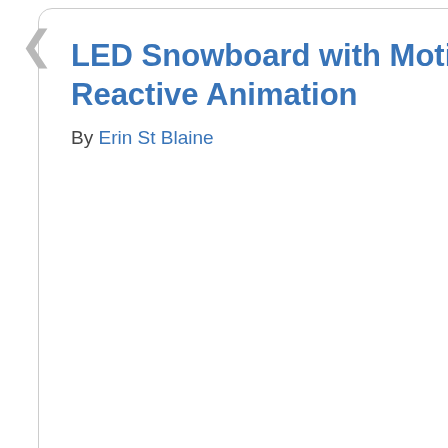LED Snowboard with Motion-Reactive Animation
By Erin St Blaine
🔖 19   Intermediate